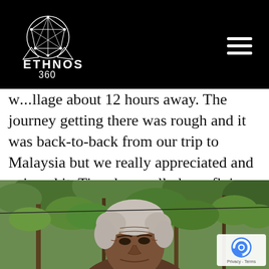ETHNOS 360 (logo with navigation menu)
w...llage about 12 hours away. The journey getting there was rough and it was back-to-back from our trip to Malaysia but we really appreciated and enjoyed it. Time has really been flying by and we are sorry to just now be updating you guys with what has been going on.
[Figure (photo): Photograph of an elderly man with grey/white hair standing outdoors in a tropical forest setting with green trees and foliage in the background. A reCAPTCHA badge is visible in the bottom right corner showing 'Privacy - Terms'.]